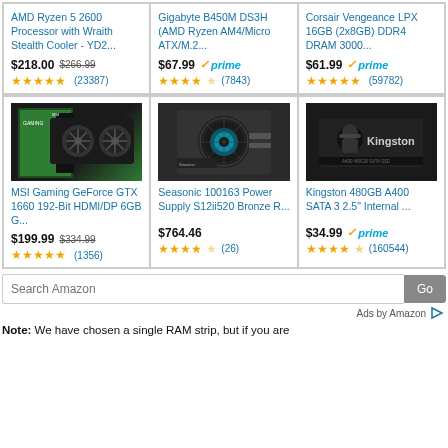[Figure (screenshot): Amazon product listing grid showing 6 computer hardware products in 2 rows of 3]
AMD Ryzen 5 2600 Processor with Wraith Stealth Cooler - YD2... $218.00 $266.99 ★★★★★ (23387)
Gigabyte B450M DS3H (AMD Ryzen AM4/Micro ATX/M.2... $67.99 ✓prime ★★★★☆ (7843)
Corsair Vengeance LPX 16GB (2x8GB) DDR4 DRAM 3000... $61.99 ✓prime ★★★★★ (59782)
MSI Gaming GeForce GTX 1660 192-Bit HDMI/DP 6GB G... $199.99 $334.99 ★★★★★ (1356)
Seasonic 100163 Power Supply S12ii520 Bronze R... $764.46 ★★★★☆ (26)
Kingston 480GB A400 SATA 3 2.5" Internal ... $34.99 ✓prime ★★★★☆ (160544)
Search Amazon Go
Ads by Amazon ▷
Note: We have chosen a single RAM strip, but if you are